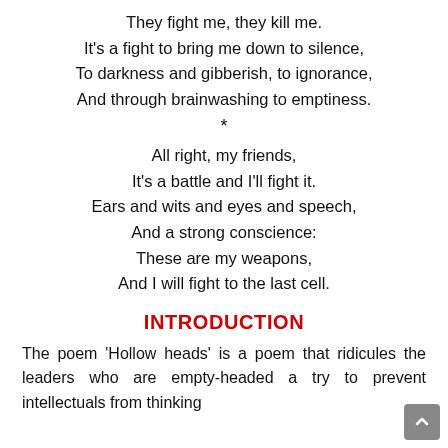They fight me, they kill me.
It's a fight to bring me down to silence,
To darkness and gibberish, to ignorance,
And through brainwashing to emptiness.
*
All right, my friends,
It's a battle and I'll fight it.
Ears and wits and eyes and speech,
And a strong conscience:
These are my weapons,
And I will fight to the last cell.
INTRODUCTION
The poem 'Hollow heads' is a poem that ridicules the leaders who are empty-headed a try to prevent intellectuals from thinking